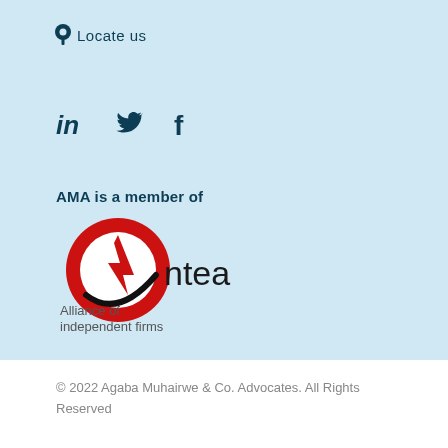Locate us
[Figure (other): Social media icons: LinkedIn (in), Twitter (bird), Facebook (f)]
AMA is a member of
[Figure (logo): Antea Alliance of independent firms logo with red swoosh/A symbol]
© 2022 Agaba Muhairwe & Co. Advocates. All Rights Reserved